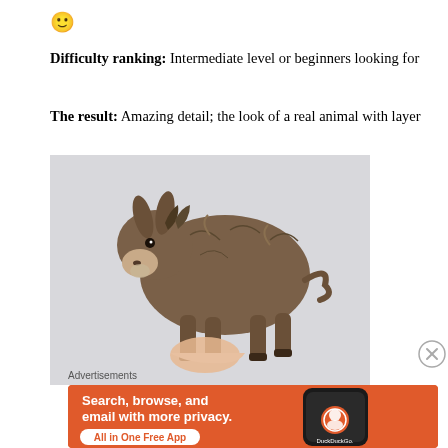[Figure (illustration): Smiley face emoji]
Difficulty ranking: Intermediate level or beginners looking for
The result: Amazing detail; the look of a real animal with layer
[Figure (photo): A realistic needle-felted donkey figurine being held by a hand, photographed against a light grey background]
Advertisements
[Figure (screenshot): DuckDuckGo advertisement banner: Search, browse, and email with more privacy. All in One Free App. Shows a smartphone with DuckDuckGo app.]